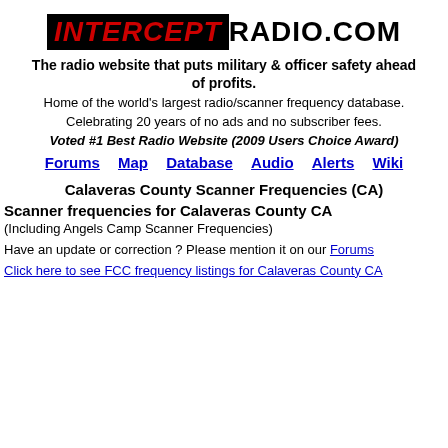[Figure (logo): InterceptRadio.com logo: black box with red italic bold INTERCEPT text followed by bold black RADIO.COM]
The radio website that puts military & officer safety ahead of profits. Home of the world's largest radio/scanner frequency database. Celebrating 20 years of no ads and no subscriber fees. Voted #1 Best Radio Website (2009 Users Choice Award)
Forums
Map
Database
Audio
Alerts
Wiki
Calaveras County Scanner Frequencies (CA)
Scanner frequencies for Calaveras County CA
(Including Angels Camp Scanner Frequencies)
Have an update or correction ? Please mention it on our Forums
Click here to see FCC frequency listings for Calaveras County CA